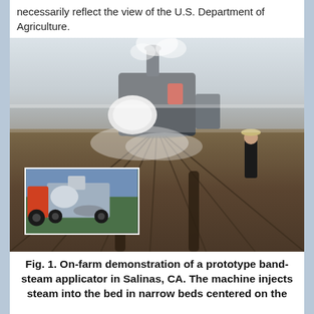necessarily reflect the view of the U.S. Department of Agriculture.
[Figure (photo): On-farm demonstration of a prototype band-steam applicator in a field in Salinas, CA. Large agricultural machine emitting steam/smoke moves through tilled field rows, with a person walking alongside. An inset photo in the lower-left shows the machine from the side in a clear-sky setting.]
Fig. 1. On-farm demonstration of a prototype band-steam applicator in Salinas, CA. The machine injects steam into the bed in narrow beds centered on the